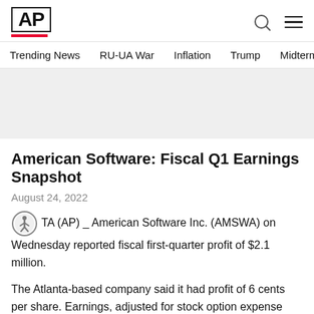AP
Trending News  RU-UA War  Inflation  Trump  Midterm elect
American Software: Fiscal Q1 Earnings Snapshot
August 24, 2022
ATLANTA (AP) _ American Software Inc. (AMSWA) on Wednesday reported fiscal first-quarter profit of $2.1 million.
The Atlanta-based company said it had profit of 6 cents per share. Earnings, adjusted for stock option expense and